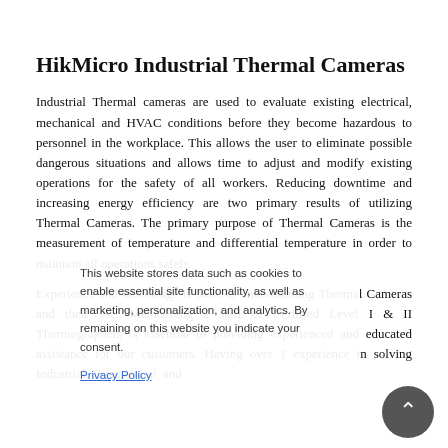HikMicro Industrial Thermal Cameras
Industrial Thermal cameras are used to evaluate existing electrical, mechanical and HVAC conditions before they become hazardous to personnel in the workplace. This allows the user to eliminate possible dangerous situations and allows time to adjust and modify existing operations for the safety of all workers. Reducing downtime and increasing energy efficiency are two primary results of utilizing Thermal Cameras. The primary purpose of Thermal Cameras is the measurement of temperature and differential temperature in order to maintain all operations safely.

Experience and knowledge is basic to understanding Thermal Cameras and their use. Maintaining a staff of Certified Level I & II Thermographers is essential to providing experienced and educated assistance for our customers. Having over 1 experience in solving Industrial, Commercial, and
This website stores data such as cookies to enable essential site functionality, as well as marketing, personalization, and analytics. By remaining on this website you indicate your consent.

Privacy Policy